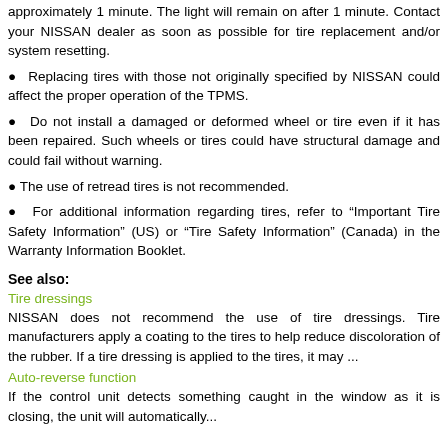approximately 1 minute. The light will remain on after 1 minute. Contact your NISSAN dealer as soon as possible for tire replacement and/or system resetting.
Replacing tires with those not originally specified by NISSAN could affect the proper operation of the TPMS.
Do not install a damaged or deformed wheel or tire even if it has been repaired. Such wheels or tires could have structural damage and could fail without warning.
The use of retread tires is not recommended.
For additional information regarding tires, refer to “Important Tire Safety Information” (US) or “Tire Safety Information” (Canada) in the Warranty Information Booklet.
See also:
Tire dressings
NISSAN does not recommend the use of tire dressings. Tire manufacturers apply a coating to the tires to help reduce discoloration of the rubber. If a tire dressing is applied to the tires, it may ...
Auto-reverse function
If the control unit detects something caught in the window as it is closing, the unit will automatically...